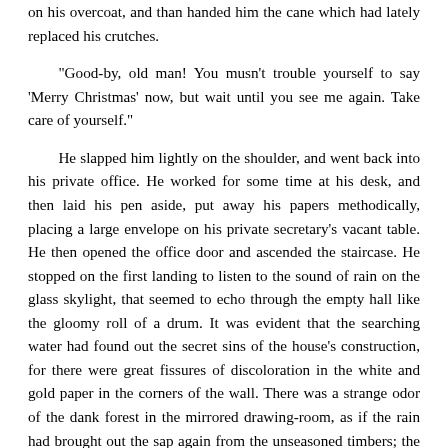on his overcoat, and than handed him the cane which had lately replaced his crutches.

"Good-by, old man! You musn't trouble yourself to say 'Merry Christmas' now, but wait until you see me again. Take care of yourself."

He slapped him lightly on the shoulder, and went back into his private office. He worked for some time at his desk, and then laid his pen aside, put away his papers methodically, placing a large envelope on his private secretary's vacant table. He then opened the office door and ascended the staircase. He stopped on the first landing to listen to the sound of rain on the glass skylight, that seemed to echo through the empty hall like the gloomy roll of a drum. It was evident that the searching water had found out the secret sins of the house's construction, for there were great fissures of discoloration in the white and gold paper in the corners of the wall. There was a strange odor of the dank forest in the mirrored drawing-room, as if the rain had brought out the sap again from the unseasoned timbers; the blue and white satin furniture looked cold, and the marble mantels and centre tables had taken upon themselves the clamminess of tombstones. Mr. Mulrady, who had always retained his old farmer-like